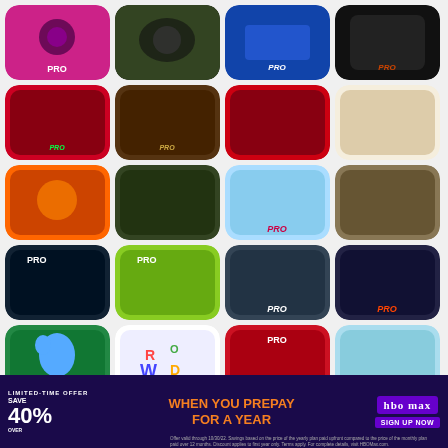[Figure (screenshot): Grid of mobile app icons, mostly racing/motorcycle games with 'PRO' labels, arranged in 6 rows of 4 icons each. Row 1: pink music/game app PRO, motorcycle game, motorcycle racing PRO, dark game PRO. Row 2: motorcycle racing PRO, archer bow game PRO, motorcycle stunt, dirt bike racing. Row 3: fiery motorcycle, dark motorcycle racing, archer PRO, bronze motorcycle. Row 4: dark car PRO, motorcycle PRO, yellow car PRO, motorcycle fire PRO. Row 5: blue bird app PRO, word game PRO, racing car PRO, cartoon character PRO. Row 6: partial row visible with some icons. Ad banner overlay at bottom: HBO Max 40% off promotion.]
[Figure (infographic): Advertisement banner: 'LIMITED-TIME OFFER - SAVE OVER 40% WHEN YOU PREPAY FOR A YEAR' - HBO Max promotion with sign up button and fine print about offer validity through 10/30/22]